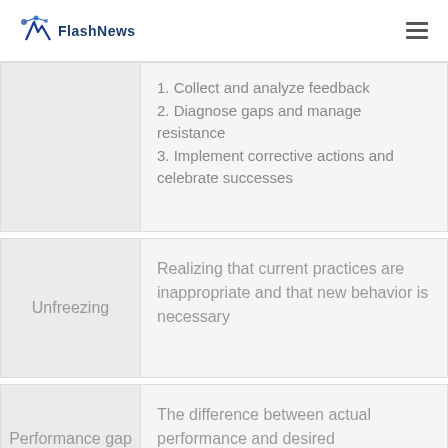FlashNews
1. Collect and analyze feedback
2. Diagnose gaps and manage resistance
3. Implement corrective actions and celebrate successes
| Term | Definition |
| --- | --- |
| Unfreezing | Realizing that current practices are inappropriate and that new behavior is necessary |
| Performance gap | The difference between actual performance and desired performance |